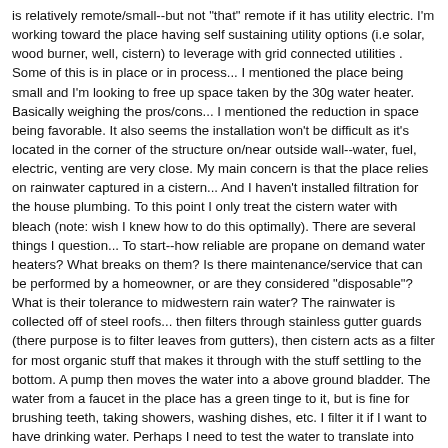is relatively remote/small--but not "that" remote if it has utility electric. I'm working toward the place having self sustaining utility options (i.e solar, wood burner, well, cistern) to leverage with grid connected utilities . Some of this is in place or in process... I mentioned the place being small and I'm looking to free up space taken by the 30g water heater. Basically weighing the pros/cons... I mentioned the reduction in space being favorable. It also seems the installation won't be difficult as it's located in the corner of the structure on/near outside wall--water, fuel, electric, venting are very close. My main concern is that the place relies on rainwater captured in a cistern... And I haven't installed filtration for the house plumbing. To this point I only treat the cistern water with bleach (note: wish I knew how to do this optimally). There are several things I question... To start--how reliable are propane on demand water heaters? What breaks on them? Is there maintenance/service that can be performed by a homeowner, or are they considered "disposable"? What is their tolerance to midwestern rain water? The rainwater is collected off of steel roofs... then filters through stainless gutter guards (there purpose is to filter leaves from gutters), then cistern acts as a filter for most organic stuff that makes it through with the stuff settling to the bottom. A pump then moves the water into a above ground bladder. The water from a faucet in the place has a green tinge to it, but is fine for brushing teeth, taking showers, washing dishes, etc. I filter it if I want to have drinking water. Perhaps I need to test the water to translate into something I can quantify in microns? (just thought of this now). So... I'm looking for advice on whether a propane on demand water heater is good for my use case. If so, what would I need to do (if anything) to the ingress water. If not, I'll continue using the 30g and will put a tub under it and buy some spare elements!